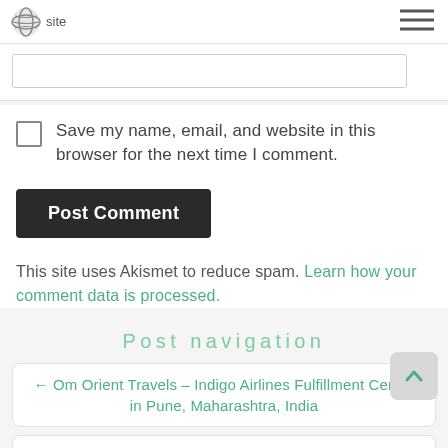site
[Figure (screenshot): Website input field (text box for URL)]
Save my name, email, and website in this browser for the next time I comment.
Post Comment
This site uses Akismet to reduce spam. Learn how your comment data is processed.
Post navigation
← Om Orient Travels – Indigo Airlines Fulfillment Centre in Pune, Maharashtra, India
Master Tour Organizers – Indigo Airlines Fulfillment Centre in Pune, Maharashtra, India →